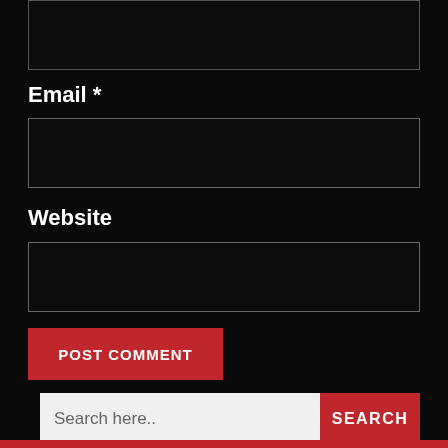[Figure (screenshot): Top portion of a web form input box (partially visible at top, dark background with grey border)]
Email *
[Figure (screenshot): Email input text field (empty, dark background with grey border)]
Website
[Figure (screenshot): Website input text field (empty, dark background with grey border)]
[Figure (screenshot): POST COMMENT button (red background, white uppercase text)]
[Figure (screenshot): Search bar with 'Search here..' placeholder and red SEARCH button]